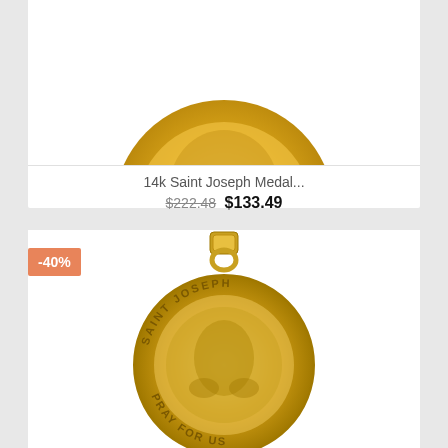[Figure (photo): Gold Saint Joseph Medal with 'PRAY FOR US' text, top portion cropped]
14k Saint Joseph Medal...
$222.48 $133.49
-40%
[Figure (photo): Gold Saint Joseph Medal pendant with bail, showing Saint Joseph figure and 'SAINT JOSEPH' and 'PRAY FOR US' text around the rim]